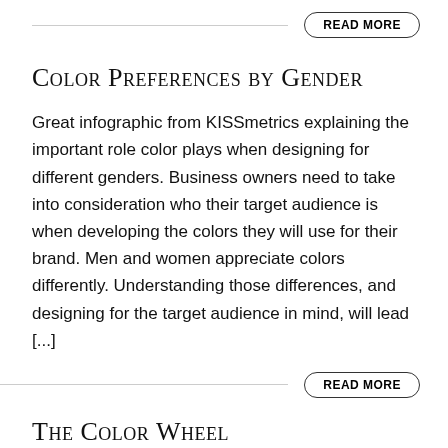READ MORE
Color Preferences by Gender
Great infographic from KISSmetrics explaining the important role color plays when designing for different genders. Business owners need to take into consideration who their target audience is when developing the colors they will use for their brand. Men and women appreciate colors differently. Understanding those differences, and designing for the target audience in mind, will lead [...]
READ MORE
The Color Wheel